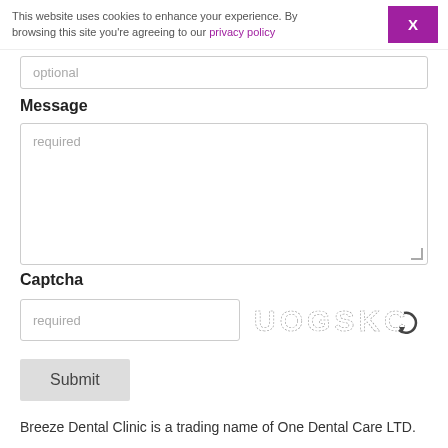This website uses cookies to enhance your experience. By browsing this site you're agreeing to our privacy policy  X
optional
Message
required
Captcha
required
[Figure (other): CAPTCHA image showing dotted letters: UOGSKC with a refresh icon]
Submit
Breeze Dental Clinic is a trading name of One Dental Care LTD.